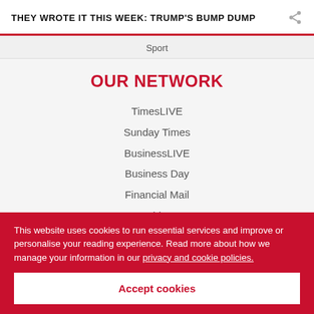THEY WROTE IT THIS WEEK: TRUMP'S BUMP DUMP
Sport
OUR NETWORK
TimesLIVE
Sunday Times
BusinessLIVE
Business Day
Financial Mail
HeraldLIVE
DispatchLIVE
Wanted Online
SA Home Owner
This website uses cookies to run essential services and improve or personalise your reading experience. Read more about how we manage your information in our privacy and cookie policies.